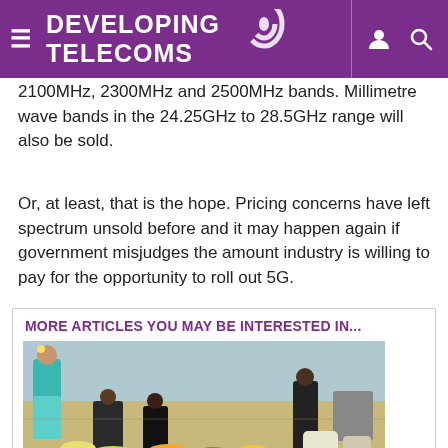DEVELOPING TELECOMS
2100MHz, 2300MHz and 2500MHz bands. Millimetre wave bands in the 24.25GHz to 28.5GHz range will also be sold.
Or, at least, that is the hope. Pricing concerns have left spectrum unsold before and it may happen again if government misjudges the amount industry is willing to pay for the opportunity to roll out 5G.
MORE ARTICLES YOU MAY BE INTERESTED IN...
[Figure (photo): An Indian market scene showing a woman in a sari shopping at an outdoor vegetable/produce market with vendors seated on the ground surrounded by fruit and vegetables.]